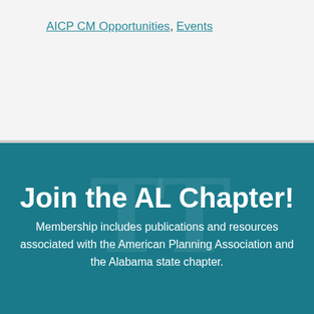AICP CM Opportunities, Events
Join the AL Chapter!
Membership includes publications and resources associated with the American Planning Association and the Alabama state chapter.